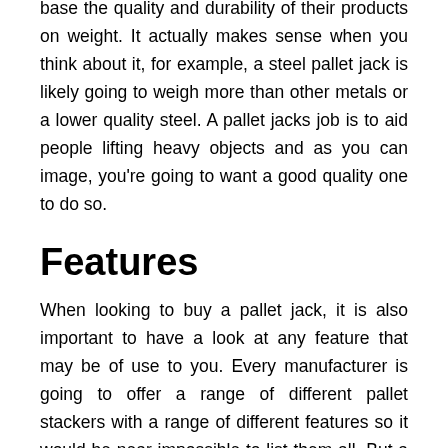base the quality and durability of their products on weight. It actually makes sense when you think about it, for example, a steel pallet jack is likely going to weigh more than other metals or a lower quality steel. A pallet jacks job is to aid people lifting heavy objects and as you can image, you're going to want a good quality one to do so.
Features
When looking to buy a pallet jack, it is also important to have a look at any feature that may be of use to you. Every manufacturer is going to offer a range of different pallet stackers with a range of different features so it would be near impossible to list them all. But a couple of example include;
Scales – some pallet trucks come with a built on scale, allowing you to weigh objects whilst transporting them, this